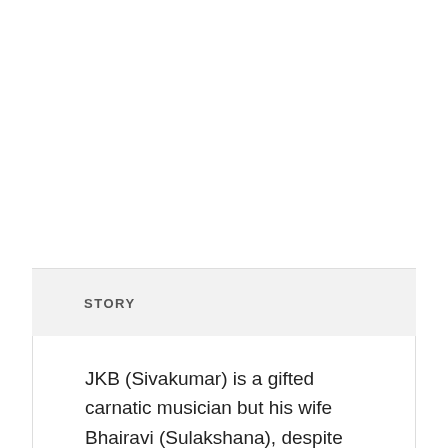STORY
JKB (Sivakumar) is a gifted carnatic musician but his wife Bhairavi (Sulakshana), despite her love and loyalty, fails to satisfy or challenge him intellectually. For JKB, this, and her inability to have children, is a problem. Gajanathi